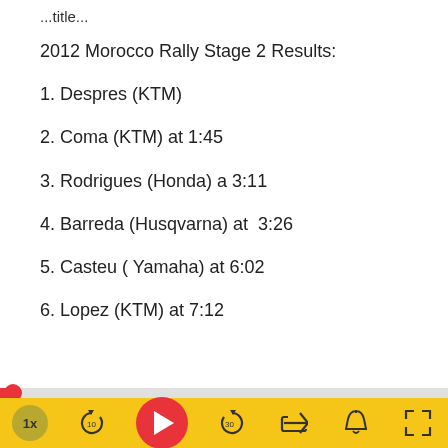...title...
2012 Morocco Rally Stage 2 Results:
1. Despres (KTM)
2. Coma (KTM) at 1:45
3. Rodrigues (Honda) a 3:11
4. Barreda (Husqvarna) at  3:26
5. Casteu ( Yamaha) at 6:02
6. Lopez (KTM) at 7:12